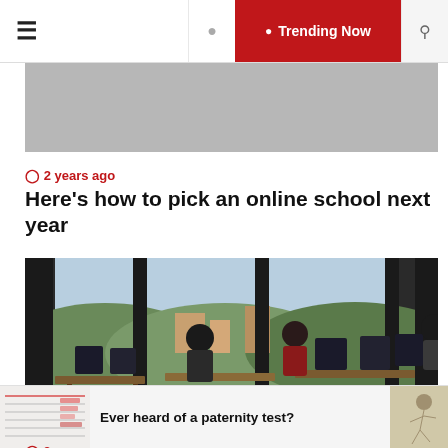☰  Trending Now
[Figure (photo): Gray website banner image placeholder]
🕐 2 years ago
Here's how to pick an online school next year
[Figure (photo): Office/classroom scene with people working at standing desks with monitors, large windows showing hills and buildings in background]
🕐 2 years ago
[Figure (other): Ad: Ever heard of a paternity test? with thumbnail images on left and right]